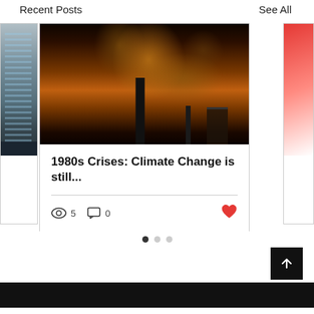Recent Posts    See All
[Figure (photo): Blog post card showing industrial chimney with large smoke cloud against dark amber sky, titled '1980s Crises: Climate Change is still...' with 5 views and 0 comments and a heart icon]
1980s Crises: Climate Change is still...
5 views  0 comments  ♥
[Figure (infographic): Carousel pagination with three dots, first dot filled/active]
[Figure (infographic): Back to top arrow button (black square with white up arrow)]
[Figure (photo): Partial bottom image strip, dark/black background]